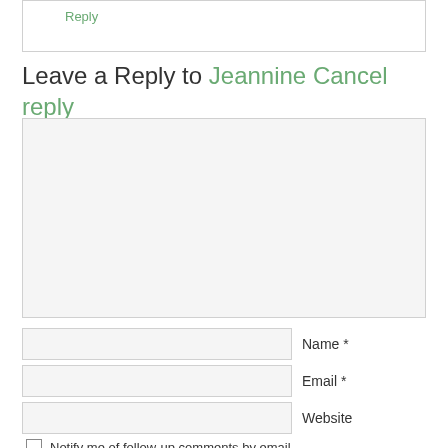Reply
Leave a Reply to Jeannine Cancel reply
[Figure (other): Comment text area input field, large resizable textarea with light gray background]
Name *
Email *
Website
Notify me of follow-up comments by email.